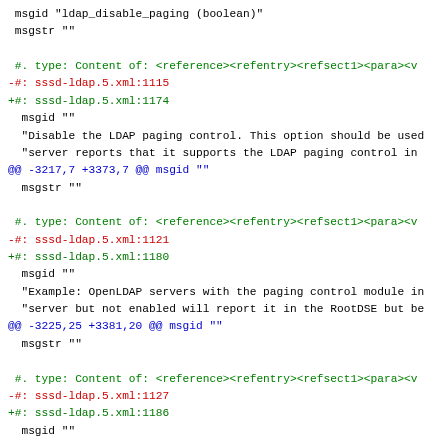msgid "ldap_disable_paging (boolean)"
msgstr ""

#. type: Content of: <reference><refentry><refsect1><para><v
-#: sssd-ldap.5.xml:1115
+#: sssd-ldap.5.xml:1174
 msgid ""
 "Disable the LDAP paging control. This option should be used
 "server reports that it supports the LDAP paging control in
@@ -3217,7 +3373,7 @@ msgid ""
 msgstr ""

#. type: Content of: <reference><refentry><refsect1><para><v
-#: sssd-ldap.5.xml:1121
+#: sssd-ldap.5.xml:1180
 msgid ""
 "Example: OpenLDAP servers with the paging control module in
 "server but not enabled will report it in the RootDSE but be
@@ -3225,25 +3381,20 @@ msgid ""
 msgstr ""

#. type: Content of: <reference><refentry><refsect1><para><v
-#: sssd-ldap.5.xml:1127
+#: sssd-ldap.5.xml:1186
 msgid ""